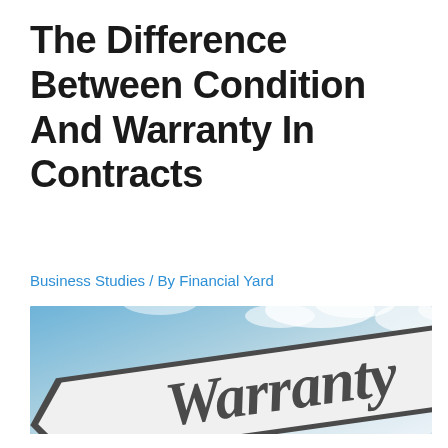The Difference Between Condition And Warranty In Contracts
Business Studies / By Financial Yard
[Figure (photo): A directional road sign pointing left with the word 'Warranty' written on it in large bold text, photographed against a partly cloudy blue sky background.]